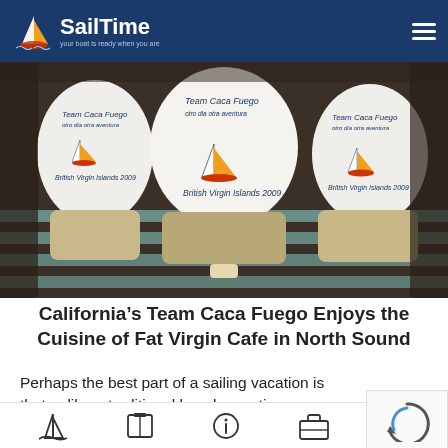SailTime — your boat is ready when you are
[Figure (photo): Three people seated on bleachers viewed from behind, all wearing matching white T-shirts reading 'Team Caca Fuego, otro dia otra aventura, British Virgin Islands 2009' with a sailboat graphic.]
California's Team Caca Fuego Enjoys the Cuisine of Fat Virgin Cafe in North Sound
Perhaps the best part of a sailing vacation is that unlike a traditional beach vacation, you get to enjoy a different...
Navigation icons: sailboat, book, info, briefcase, search